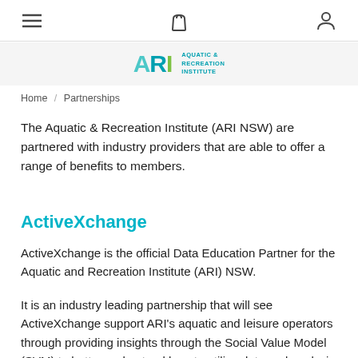Navigation bar with menu, cart, and user icons
[Figure (logo): ARI Aquatic & Recreation Institute logo]
Home / Partnerships
The Aquatic & Recreation Institute (ARI NSW) are partnered with industry providers that are able to offer a range of benefits to members.
ActiveXchange
ActiveXchange is the official Data Education Partner for the Aquatic and Recreation Institute (ARI) NSW.
It is an industry leading partnership that will see ActiveXchange support ARI's aquatic and leisure operators through providing insights through the Social Value Model (SVM) to better understand how to utilise data and analysis